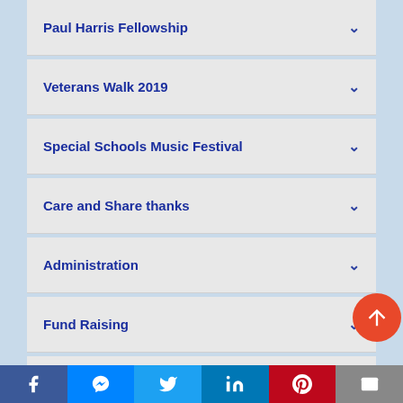Paul Harris Fellowship
Veterans Walk 2019
Special Schools Music Festival
Care and Share thanks
Administration
Fund Raising
General Information
Spr...
Facebook | Messenger | Twitter | LinkedIn | Pinterest | Email